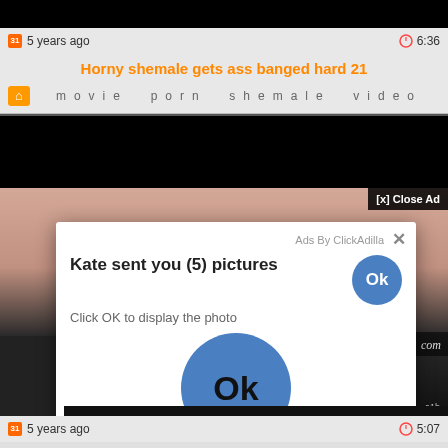[Figure (screenshot): Top black video player bar]
5 years ago
6:36
Horny shemale gets ass banged hard 21
movie  porn  shemale  video
[Figure (screenshot): Black video player area]
[Figure (screenshot): Skin-tone image background with ad overlay showing: Ads By ClickAdilla [x], Kate sent you (5) pictures, Click OK to display the photo, large Ok button]
[x] Close Ad
Ads By ClickAdilla ×
Kate sent you (5) pictures
Click OK to display the photo
Ok
Ok
a1h
5 years ago
5:07